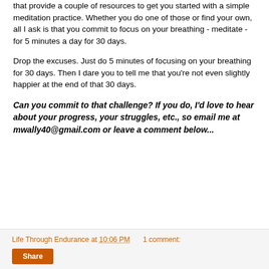that provide a couple of resources to get you started with a simple meditation practice.  Whether you do one of those or find your own, all I ask is that you commit to focus on your breathing - meditate - for 5 minutes a day for 30 days.
Drop the excuses.  Just do 5 minutes of focusing on your breathing for 30 days.  Then I dare you to tell me that you're not even slightly happier at the end of that 30 days.
Can you commit to that challenge? If you do, I'd love to hear about your progress, your struggles, etc., so email me at mwally40@gmail.com or leave a comment below...
Life Through Endurance at 10:06 PM   1 comment:   Share